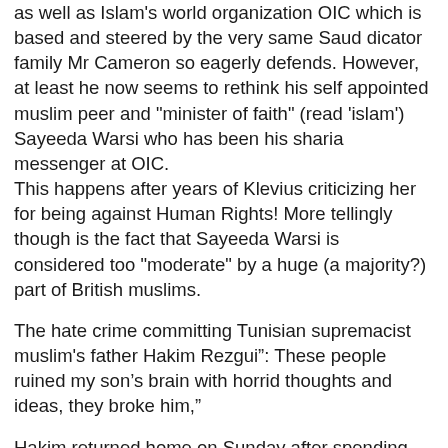as well as Islam's world organization OIC which is based and steered by the very same Saud dicator family Mr Cameron so eagerly defends. However, at least he now seems to rethink his self appointed muslim peer and "minister of faith" (read 'islam') Sayeeda Warsi who has been his sharia messenger at OIC.
This happens after years of Klevius criticizing her for being against Human Rights! More tellingly though is the fact that Sayeeda Warsi is considered too "moderate" by a huge (a majority?) part of British muslims.
The hate crime committing Tunisian supremacist muslim's father Hakim Rezgui": These people ruined my son’s brain with horrid thoughts and ideas, they broke him,"
Hakim returned home on Sunday after spending two days in police custody. He said the news that the gunman was his son difficult to “comprehend”.
“My God, I am so shocked. I don’t know who has contacted him, influenced him or who has put these ideas in his head. He has new friends who got him into this.